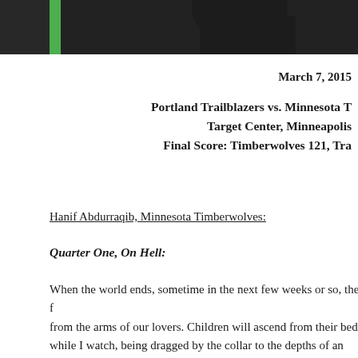[Figure (photo): Dark photograph of a person, cropped at the top of the page with a green vertical bar on the left side]
March 7, 2015
Portland Trailblazers vs. Minnesota T
Target Center, Minneapolis
Final Score: Timberwolves 121, Tra
Hanif Abdurraqib, Minnesota Timberwolves:
Quarter One, On Hell:
When the world ends, sometime in the next few weeks or so, the f from the arms of our lovers. Children will ascend from their beds while I watch, being dragged by the collar to the depths of an unth hell won't bother with flames, or demons, or any of the other thi